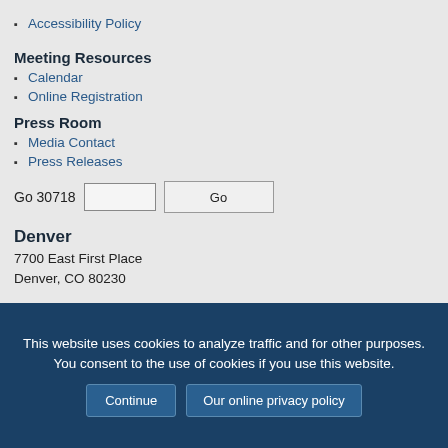Accessibility Policy
Meeting Resources
Calendar
Online Registration
Press Room
Media Contact
Press Releases
Go 30718
Denver
7700 East First Place
Denver, CO 80230
This website uses cookies to analyze traffic and for other purposes. You consent to the use of cookies if you use this website.